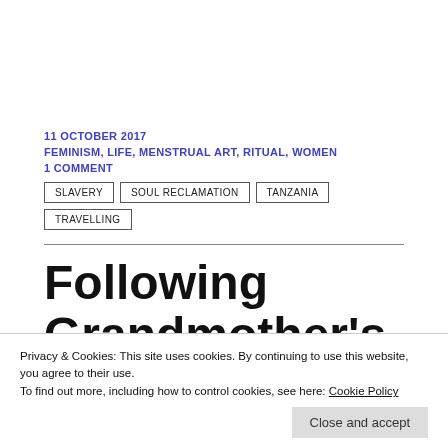11 OCTOBER 2017
FEMINISM, LIFE, MENSTRUAL ART, RITUAL, WOMEN
1 COMMENT
SLAVERY
SOUL RECLAMATION
TANZANIA
TRAVELLING
Following Grandmother's
Privacy & Cookies: This site uses cookies. By continuing to use this website, you agree to their use. To find out more, including how to control cookies, see here: Cookie Policy
Close and accept